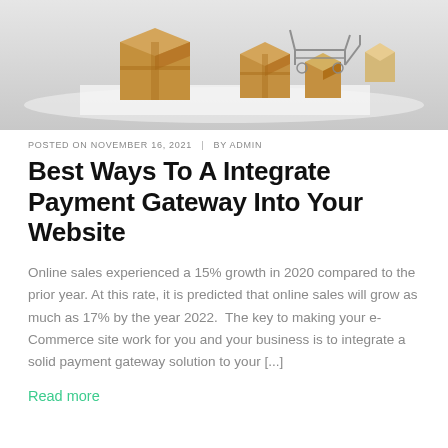[Figure (photo): Photo of cardboard boxes and a shopping cart on a white surface, representing e-commerce and online shopping]
POSTED ON NOVEMBER 16, 2021  |  BY ADMIN
Best Ways To A Integrate Payment Gateway Into Your Website
Online sales experienced a 15% growth in 2020 compared to the prior year. At this rate, it is predicted that online sales will grow as much as 17% by the year 2022.  The key to making your e-Commerce site work for you and your business is to integrate a solid payment gateway solution to your [...]
Read more